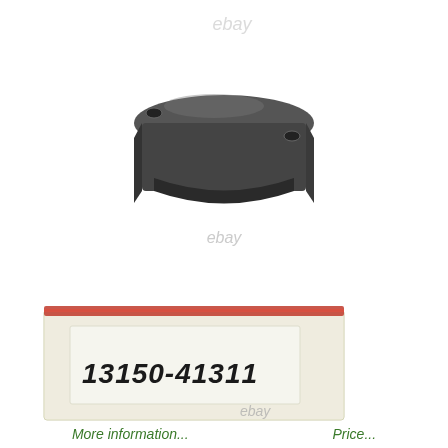[Figure (photo): A dark gray metal bracket/mount part with two mounting holes, photographed on white background with eBay watermark overlay]
[Figure (photo): A clear plastic resealable bag with a red zipper top containing a white paper label handwritten '13150-41311', with eBay watermark overlay]
More information...   Price...